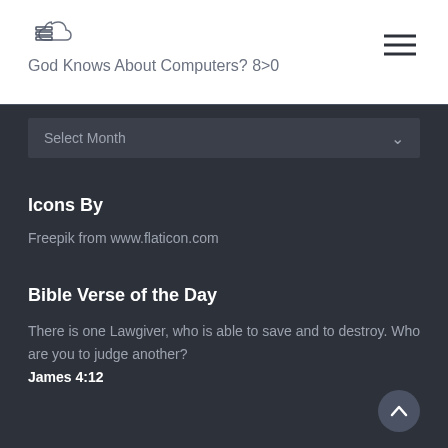God Knows About Computers? 8>0
Select Month
Icons By
Freepik from www.flaticon.com
Bible Verse of the Day
There is one Lawgiver, who is able to save and to destroy. Who are you to judge another? James 4:12